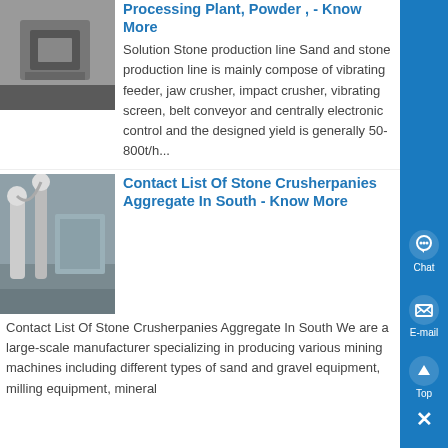Processing Plant, Powder , - Know More
Solution Stone production line Sand and stone production line is mainly compose of vibrating feeder, jaw crusher, impact crusher, vibrating screen, belt conveyor and centrally electronic control and the designed yield is generally 50-800t/h...
Contact List Of Stone Crusherpanies Aggregate In South - Know More
Contact List Of Stone Crusherpanies Aggregate In South We are a large-scale manufacturer specializing in producing various mining machines including different types of sand and gravel equipment, milling equipment, mineral